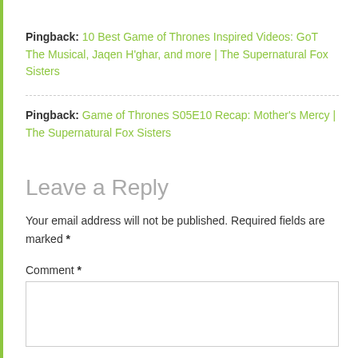Pingback: 10 Best Game of Thrones Inspired Videos: GoT The Musical, Jaqen H'ghar, and more | The Supernatural Fox Sisters
Pingback: Game of Thrones S05E10 Recap: Mother's Mercy | The Supernatural Fox Sisters
Leave a Reply
Your email address will not be published. Required fields are marked *
Comment *